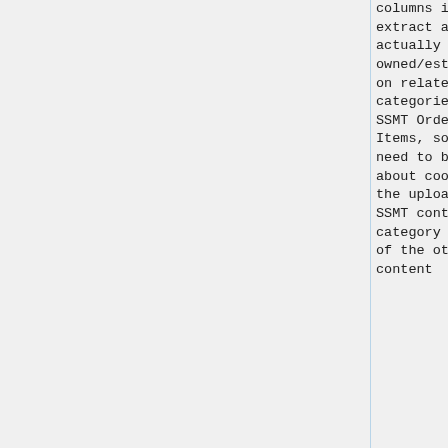columns in this extract are actually owned/established on related SSMT categories - see SSMT Orderable Items, so you will need to be careful about coordinating the upload of this SSMT content category will all of the other OID content
columns in this extract are actually owned/established on related SSMT categories - see SSMT Orderable Items, so you will need to be careful about coordinating the upload of this SSMT content category will all of the other OID content